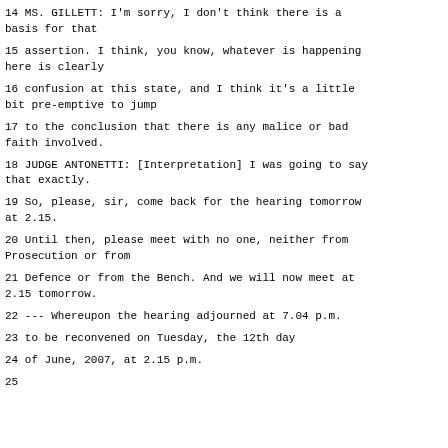14 MS. GILLETT: I'm sorry, I don't think there is a basis for that
15 assertion. I think, you know, whatever is happening here is clearly
16 confusion at this state, and I think it's a little bit pre-emptive to jump
17 to the conclusion that there is any malice or bad faith involved.
18 JUDGE ANTONETTI: [Interpretation] I was going to say that exactly.
19 So, please, sir, come back for the hearing tomorrow at 2.15.
20 Until then, please meet with no one, neither from Prosecution or from
21 Defence or from the Bench. And we will now meet at 2.15 tomorrow.
22 --- Whereupon the hearing adjourned at 7.04 p.m.
23 to be reconvened on Tuesday, the 12th day
24 of June, 2007, at 2.15 p.m.
25